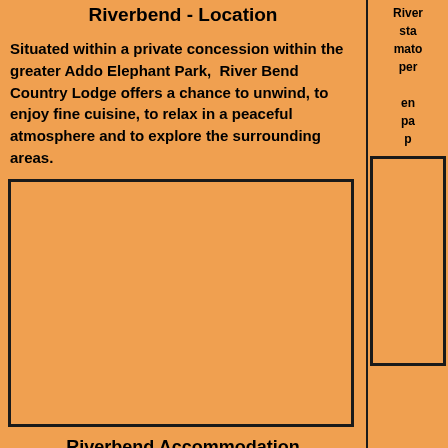Riverbend - Location
Situated within a private concession within the greater Addo Elephant Park,  River Bend Country Lodge offers a chance to unwind, to enjoy fine cuisine, to relax in a peaceful atmosphere and to explore the surrounding areas.
[Figure (photo): Large rectangular image placeholder with orange background and black border]
Riverbend Accommodation
River... sta... mato... per... en... pa... p...
[Figure (photo): Smaller image placeholder on the right column, orange background with black border]